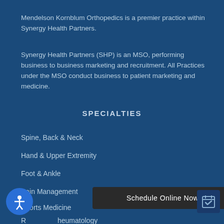Mendelson Kornblum Orthopedics is a premier practice within Synergy Health Partners.
Synergy Health Partners (SHP) is an MSO, performing business to business marketing and recruitment. All Practices under the MSO conduct business to patient marketing and medicine.
SPECIALTIES
Spine, Back & Neck
Hand & Upper Extremity
Foot & Ankle
Pain Management
Sports Medicine
Rheumatology
Total Joint